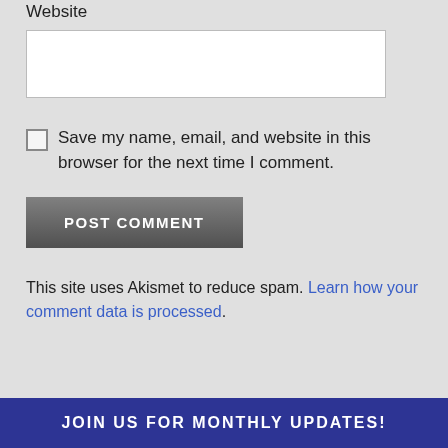Website
Save my name, email, and website in this browser for the next time I comment.
POST COMMENT
This site uses Akismet to reduce spam. Learn how your comment data is processed.
JOIN US FOR MONTHLY UPDATES!